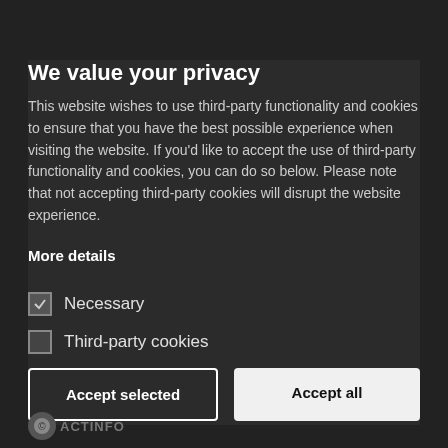We value your privacy
This website wishes to use third-party functionality and cookies to ensure that you have the best possible experience when visiting the website. If you'd like to accept the use of third-party functionality and cookies, you can do so below. Please note that not accepting third-party cookies will disrupt the website experience.
More details
Necessary
Third-party cookies
Accept selected
Accept all
ACTINFO